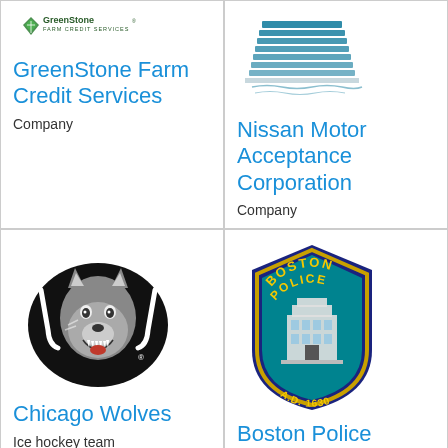[Figure (logo): GreenStone Farm Credit Services logo - green diamond shape with plant, company name text]
GreenStone Farm Credit Services
Company
[Figure (logo): Nissan Motor Acceptance Corporation logo - teal/blue building illustration]
Nissan Motor Acceptance Corporation
Company
[Figure (logo): Chicago Wolves ice hockey team logo - wolf head with hockey stick]
Chicago Wolves
Ice hockey team
[Figure (logo): Boston Police Department badge/shield logo with text BOSTON POLICE and A.D. 1630]
Boston Police Department